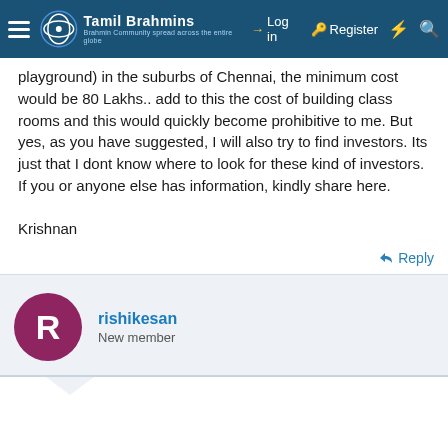Tamil Brahmins — Log in | Register
playground) in the suburbs of Chennai, the minimum cost would be 80 Lakhs.. add to this the cost of building class rooms and this would quickly become prohibitive to me. But yes, as you have suggested, I will also try to find investors. Its just that I dont know where to look for these kind of investors. If you or anyone else has information, kindly share here.

Krishnan
Reply
rishikesan
New member